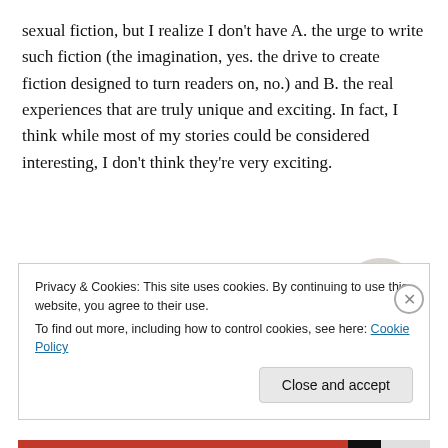sexual fiction, but I realize I don't have A. the urge to write such fiction (the imagination, yes. the drive to create fiction designed to turn readers on, no.) and B. the real experiences that are truly unique and exciting. In fact, I think while most of my stories could be considered interesting, I don't think they're very exciting.
[Figure (other): Advertisement banner: 'Build a better web and a better world.' with an Apply button and a circular photo of a person.]
Privacy & Cookies: This site uses cookies. By continuing to use this website, you agree to their use.
To find out more, including how to control cookies, see here: Cookie Policy
Close and accept